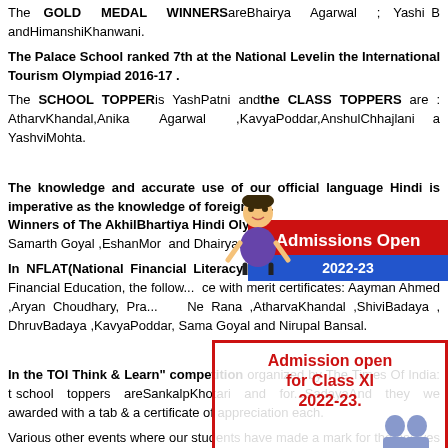The GOLD MEDAL WINNERS are Bhairya Agarwal ; Yashi B and HimanshiKhanwani.
The Palace School ranked 7th at the National Levelin the International Tourism Olympiad 2016-17 .
The SCHOOL TOPPER is YashPatni and the CLASS TOPPERS are : AtharvKhandal, Anika Agarwal, KavyaPoddar, AnshulChhajlani a YashviMohta.
The knowledge and accurate use of our official language Hindi is imperative as the knowledge of foreign la... Winners of The AkhilBhartiya Hindi Olympiad... in (2016-17) are Samarth Goyal ,EshanMor and Dhairya Aga...
In NFLAT(National Financial Literacy Ass... by National Center for Financial Education, the follow... with merit certificates: Aayman Ahmed ,Aryan Choudhary, Pra... Ne Rana ,AtharvaKhandal ,ShiviBadaya , DhruvBadaya ,KavyaPoddar, Sama Goyal and Nirupal Bansal.
[Figure (illustration): Cartoon child figure overlay on the page]
[Figure (infographic): Admissions Open 2022-23 red and blue banner]
In the TOI Think & Learn" competition organized by The Times Of India: t school toppers areSankalpKhotari and for...SadayaAnd they we awarded with a tab & a certificate of appreciation each.
[Figure (infographic): Admission open for Class XI 2022-23 red bordered box with people icons]
Various other events where our students have made a mark for themselves a as follows: